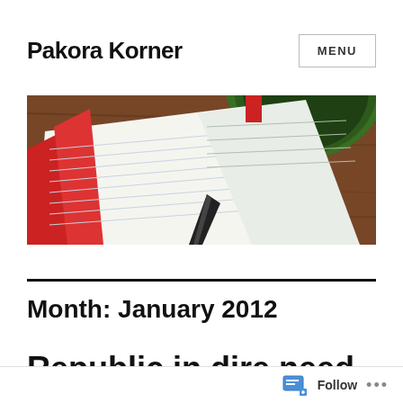Pakora Korner
[Figure (photo): Top-down photo of an open notebook with lined pages and a green coffee cup on a wooden table]
Month: January 2012
Republic in dire need of reform